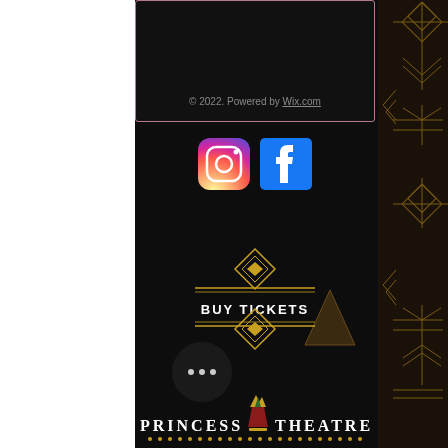© 2022. Powered by Wix.com
[Figure (logo): Instagram and Facebook social media icons]
[Figure (logo): Buy Tickets art deco badge with diamond shape and horizontal lines]
[Figure (logo): Princess Theatre logo with crown icon and decorative text]